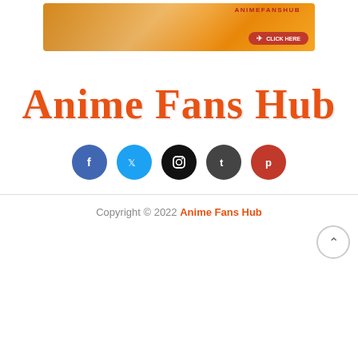[Figure (illustration): AnimeFansHub promotional banner advertisement with orange/yellow gradient background, showing a person, anime character stickers, a pointing hand cursor, and a red 'CLICK HERE' button with 'ANIMEFANSHUB' text at top right]
Anime Fans Hub
[Figure (infographic): Row of five social media icon circles: Facebook (blue), Twitter (light blue), Instagram (black), Tumblr (dark gray), Pinterest (red)]
Copyright © 2022 Anime Fans Hub